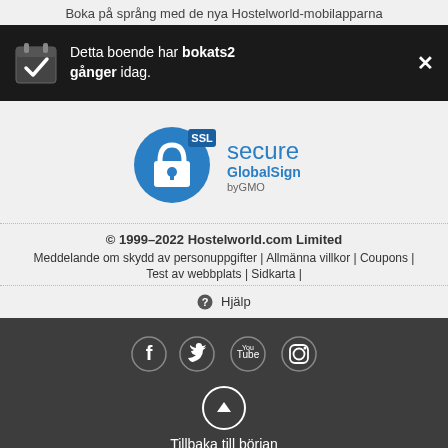Boka på språng med de nya Hostelworld-mobilapparna
Detta boende har bokats2 gånger idag.
[Figure (logo): SSL Secure GlobalSign by GMO badge]
© 1999–2022 Hostelworld.com Limited
Meddelande om skydd av personuppgifter | Allmänna villkor | Coupons |
Test av webbplats | Sidkarta |
Hjälp
[Figure (other): Social media icons: Facebook, Twitter, YouTube, Instagram]
Tillbaka till början